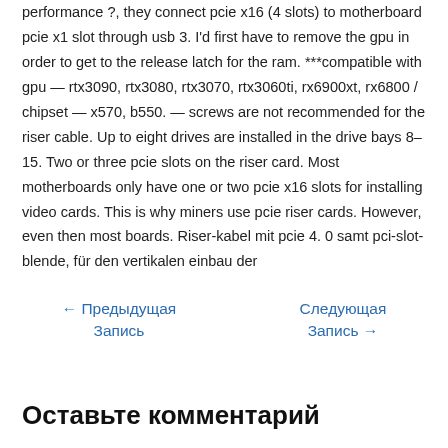performance ?, they connect pcie x16 (4 slots) to motherboard pcie x1 slot through usb 3. I'd first have to remove the gpu in order to get to the release latch for the ram. ***compatible with gpu — rtx3090, rtx3080, rtx3070, rtx3060ti, rx6900xt, rx6800 / chipset — x570, b550. — screws are not recommended for the riser cable. Up to eight drives are installed in the drive bays 8–15. Two or three pcie slots on the riser card. Most motherboards only have one or two pcie x16 slots for installing video cards. This is why miners use pcie riser cards. However, even then most boards. Riser-kabel mit pcie 4. 0 samt pci-slot-blende, für den vertikalen einbau der
← Предыдущая Запись
Следующая Запись →
Оставьте комментарий